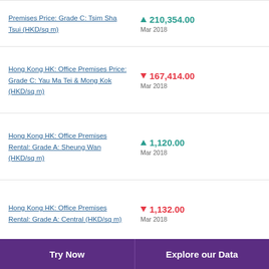Premises Price: Grade C: Tsim Sha Tsui (HKD/sq m) ▲ 210,354.00 Mar 2018
Hong Kong HK: Office Premises Price: Grade C: Yau Ma Tei & Mong Kok (HKD/sq m) ▼ 167,414.00 Mar 2018
Hong Kong HK: Office Premises Rental: Grade A: Sheung Wan (HKD/sq m) ▲ 1,120.00 Mar 2018
Hong Kong HK: Office Premises Rental: Grade A: Central (HKD/sq m) ▼ 1,132.00 Mar 2018
Try Now | Explore our Data